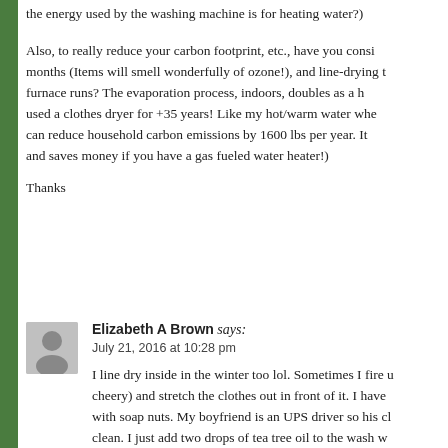the energy used by the washing machine is for heating water?)
Also, to really reduce your carbon footprint, etc., have you considered line-drying during warm months (Items will smell wonderfully of ozone!), and line-drying the clothes indoors when the furnace runs? The evaporation process, indoors, doubles as a humidifier. I have not used a clothes dryer for +35 years! Like my hot/warm water when washing clothes tip, this can reduce household carbon emissions by 1600 lbs per year. It also reduces wear on clothes and saves money if you have a gas fueled water heater!)
Thanks
Elizabeth A Brown says: July 21, 2016 at 10:28 pm
I line dry inside in the winter too lol. Sometimes I fire up the fireplace (it's cheery) and stretch the clothes out in front of it. I have been washing with soap nuts. My boyfriend is an UPS driver so his clothes get really dirty and clean. I just add two drops of tea tree oil to the wash w